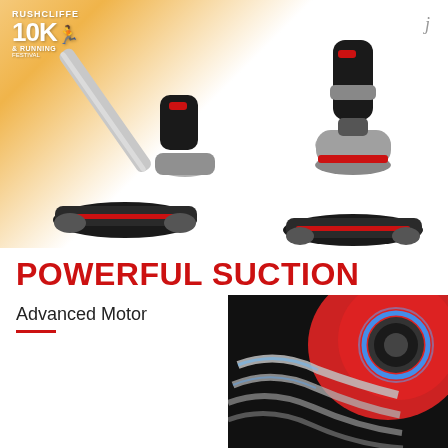[Figure (photo): Product advertisement page. Top half shows a cordless stick vacuum cleaner (EVVIS brand) shown in two orientations - full stick vacuum on left and handheld mode on right, on a warm orange-to-white gradient background with 'Rushcliffe 10K Running Festival' logo top left and 'j' letter top right. Bottom half shows the text 'POWERFUL SUCTION' in red bold letters, 'Advanced Motor' in dark text with a red underline, and a close-up photo of the red vacuum motor head with blue LED ring and silver suction coils.]